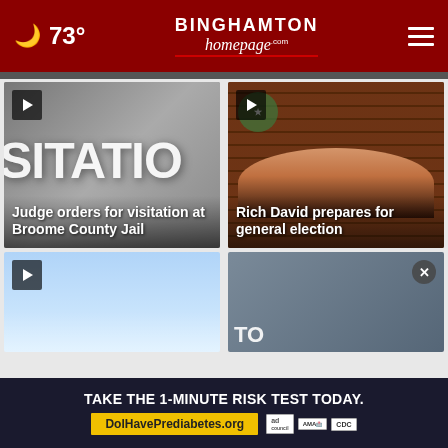73° Binghamton homepage.com
[Figure (screenshot): News card 1: Sign showing partial word 'SITATION' with headline 'Judge orders for visitation at Broome County Jail']
[Figure (screenshot): News card 2: Photo of man (Rich David) speaking, with headline 'Rich David prepares for general election']
[Figure (screenshot): Bottom left news card with play button]
[Figure (screenshot): Bottom right news card]
TAKE THE 1-MINUTE RISK TEST TODAY. DolHavePrediabetes.org